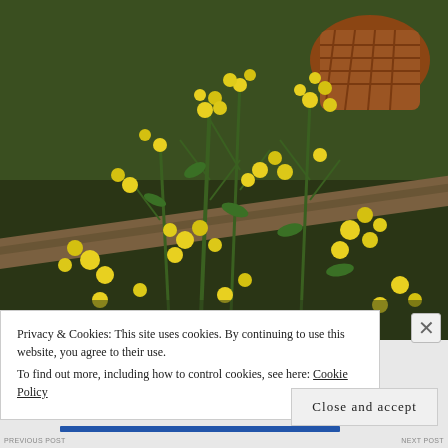[Figure (photo): Photograph of yellow flowering plants (possibly wild mustard or wallflower) growing in a garden setting with green foliage, a wooden plank/board, and a brown wicker basket visible in the background. Background shows green leafy plants.]
Privacy & Cookies: This site uses cookies. By continuing to use this website, you agree to their use.
To find out more, including how to control cookies, see here: Cookie Policy
Close and accept